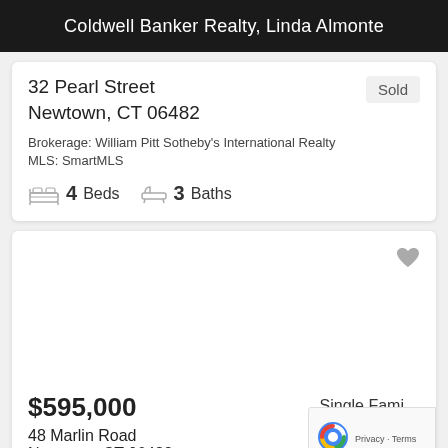Coldwell Banker Realty, Linda Almonte
32 Pearl Street
Newtown, CT 06482
Sold
Brokerage: William Pitt Sotheby's International Realty
MLS: SmartMLS
4 Beds   3 Baths
$595,000
48 Marlin Road
Newtown, CT 06482
Single Family
Sold